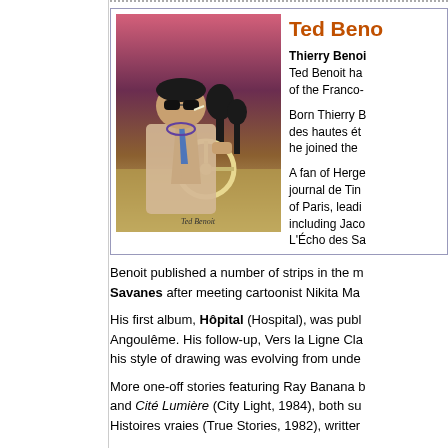Ted Beno
Thierry Benoit has... Ted Benoit ha... of the Franco-...
Born Thierry B... des hautes ét... he joined the ...
A fan of Herge... journal de Tin... of Paris, leadi... including Jaco... L'Écho des Sa...
[Figure (illustration): Comic book style illustration of a man in sunglasses driving a car, with a pink/purple sunset background. Signed 'Ted Benoit'.]
Benoit published a number of strips in the m... Savanes after meeting cartoonist Nikita Ma...
His first album, Hôpital (Hospital), was publ... Angoulême. His follow-up, Vers la Ligne Cla... his style of drawing was evolving from unde...
More one-off stories featuring Ray Banana b... and Cité Lumière (City Light, 1984), both su... Histoires vraies (True Stories, 1982), writter...
In 1987, Benoit created Bingo Bingo et so... L'homme de nulle part (Nowhere Man, 198... co-written by Madeleine DeMille and was to... Paringaux's novel L'Homme qui ne Transpir...